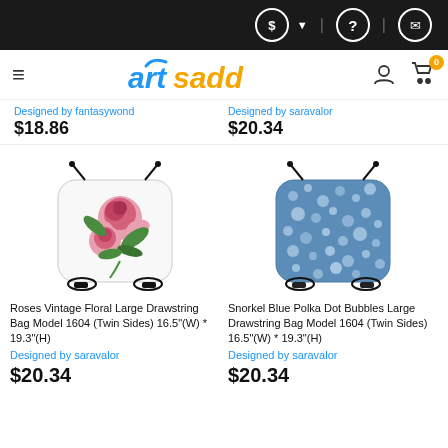ArtsAdd navigation bar with currency, help, and mail icons
Designed by fantasywond | Designed by saravalor
$18.86 | $20.34
[Figure (photo): Roses Vintage Floral Large Drawstring Bag on white background]
[Figure (photo): Snorkel Blue Polka Dot Bubbles Large Drawstring Bag in denim blue pattern]
Roses Vintage Floral Large Drawstring Bag Model 1604 (Twin Sides) 16.5"(W) * 19.3"(H)
Designed by saravalor
$20.34
Snorkel Blue Polka Dot Bubbles Large Drawstring Bag Model 1604 (Twin Sides) 16.5"(W) * 19.3"(H)
Designed by saravalor
$20.34